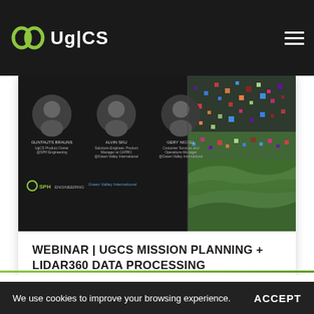UgCS
[Figure (screenshot): Webinar promotional image showing three speaker profile photos with names and titles, SPH Engineering and Green Valley International logos on left side, and a colorful LiDAR point cloud visualization of terrain on the right side.]
WEBINAR | UgCS MISSION PLANNING + LIDAR360 DATA PROCESSING
29.06.2022
UgCS.com is operated by SPH Engineering, Latvia. © SPH Engineering - all rights reserved.
Software EULA | Terms of Sale | Privacy | Cookies | About
We use cookies to improve your browsing experience.  ACCEPT